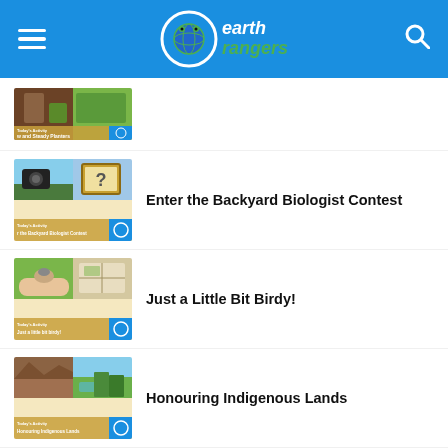Earth Rangers
[Figure (screenshot): Thumbnail for 'Slow and Steady Planters' activity - partially visible at top]
Enter the Backyard Biologist Contest
Just a Little Bit Birdy!
Honouring Indigenous Lands
Jumping Frogs